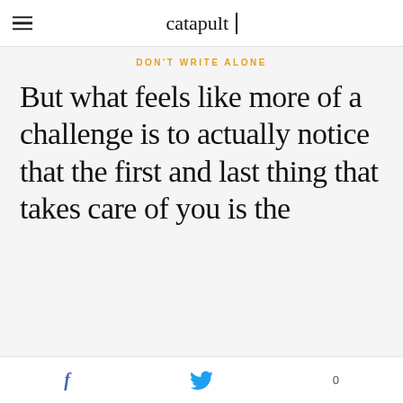catapult | DON'T WRITE ALONE
But what feels like more of a challenge is to actually notice that the first and last thing that takes care of you is the
f  [twitter bird]  0